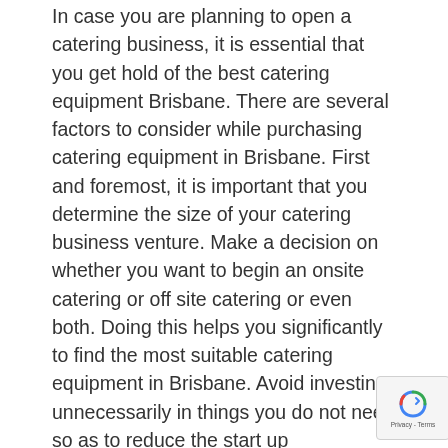In case you are planning to open a catering business, it is essential that you get hold of the best catering equipment Brisbane. There are several factors to consider while purchasing catering equipment in Brisbane. First and foremost, it is important that you determine the size of your catering business venture. Make a decision on whether you want to begin an onsite catering or off site catering or even both. Doing this helps you significantly to find the most suitable catering equipment in Brisbane. Avoid investing unnecessarily in things you do not need so as to reduce the start up expenditures.
Secondly, it is important to consider the option of renting the equipments in the beginning instead of buying them. Purchasing all the equipment that you require and renting out the rest will assist to save your money which may be used in other investments and expansion of your business. It is important to note that there are numerous catering equipment companies and facilities...